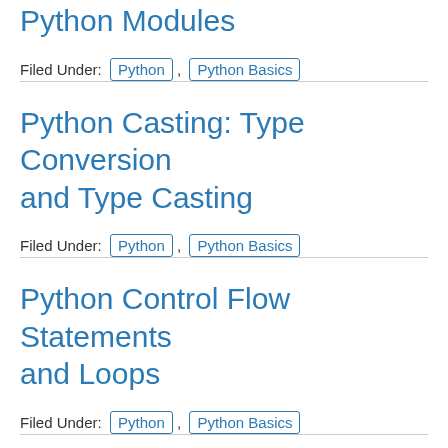Python Modules
Filed Under: Python , Python Basics
Python Casting: Type Conversion and Type Casting
Filed Under: Python , Python Basics
Python Control Flow Statements and Loops
Filed Under: Python , Python Basics
Python Operators